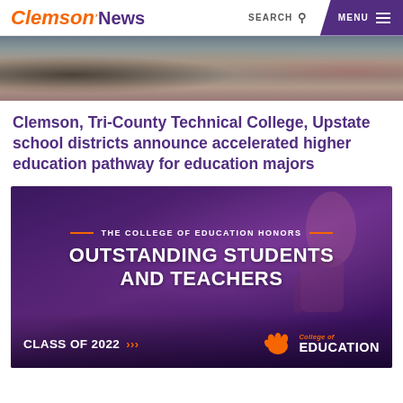Clemson News | SEARCH | MENU
[Figure (photo): Photo strip showing students in a classroom setting with books]
Clemson, Tri-County Technical College, Upstate school districts announce accelerated higher education pathway for education majors
[Figure (infographic): Dark purple banner with thumbs-up silhouette. Text reads: THE COLLEGE OF EDUCATION HONORS OUTSTANDING STUDENTS AND TEACHERS. Bottom left: CLASS OF 2022 >>>. Bottom right: Clemson paw logo with College of EDUCATION text.]